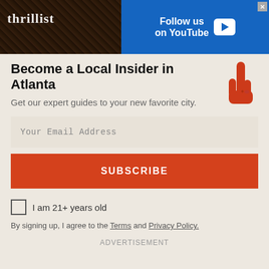[Figure (screenshot): Thrillist advertisement banner with 'Follow us on YouTube' call to action, dark background with photo of person on left and blue YouTube-branded section on right]
Become a Local Insider in Atlanta
Get our expert guides to your new favorite city.
Your Email Address
SUBSCRIBE
I am 21+ years old
By signing up, I agree to the Terms and Privacy Policy.
ADVERTISEMENT